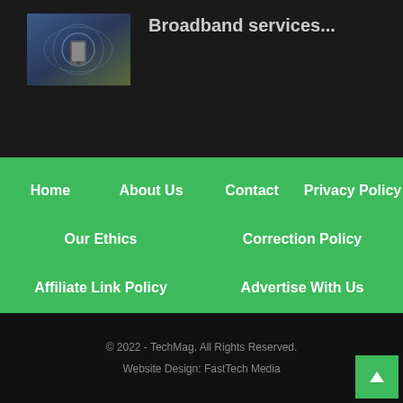[Figure (photo): Thumbnail image for article about broadband services]
Broadband services...
Home
About Us
Contact
Privacy Policy
Our Ethics
Correction Policy
Affiliate Link Policy
Advertise With Us
Send Us A Tip
× close
© 2022 - TechMag. All Rights Reserved.
Website Design: FastTech Media